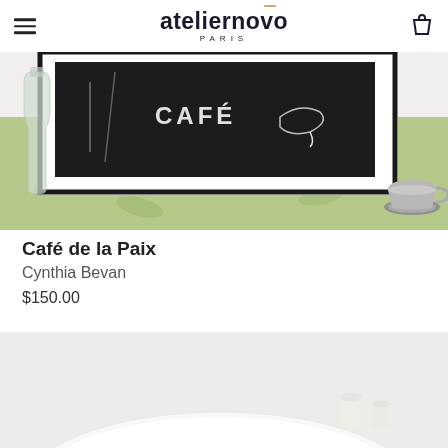ateliernovo PARIS
[Figure (photo): Product photo of 'Café de la Paix' artwork by Cynthia Bevan — shows a framed black chalkboard-style print with 'CAFÉ' text and illustrated cup, displayed on a green leaf-patterned tablecloth alongside a glass bottle and a stainless steel espresso cup on a saucer.]
Café de la Paix
Cynthia Bevan
$150.00
[Figure (photo): Partial product photo showing white ceramic or porcelain tableware — a large white plate or bowl and small cylindrical vessels, on a light grey/white background.]